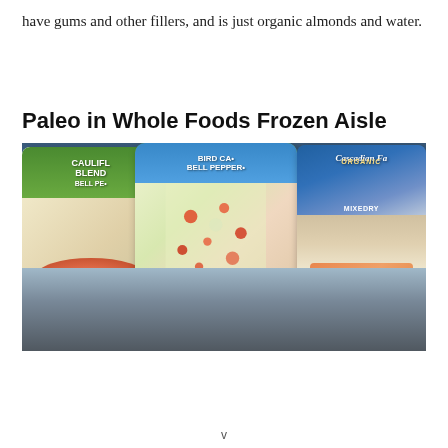have gums and other fillers, and is just organic almonds and water.
Paleo in Whole Foods Frozen Aisle
[Figure (photo): Photo of frozen food packages on a Whole Foods freezer shelf, showing bags of cauliflower blend, bird's eye vegetables with red peppers, and Cascadian Farm organic frozen vegetables. A price tag is visible on the shelf rail.]
v